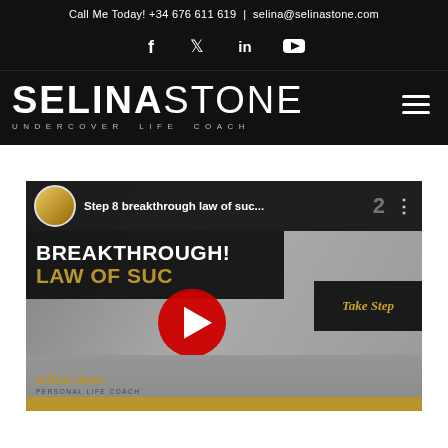Call Me Today! +34 676 611 619 | selina@selinastone.com
[Figure (logo): Social media icons: Facebook (f), Twitter (bird), LinkedIn (in), YouTube (play button)]
[Figure (logo): Selina Stone - Undercover Life Coach logo in white on black background with hamburger menu icon]
[Figure (screenshot): YouTube video thumbnail for 'Step 8 breakthrough law of suc...' by Selina Stone. Shows BREAKTHROUGH! LAW OF SUC... text with a red YouTube play button, a 'Take Step' arrow, and Selina Stone branding at bottom.]